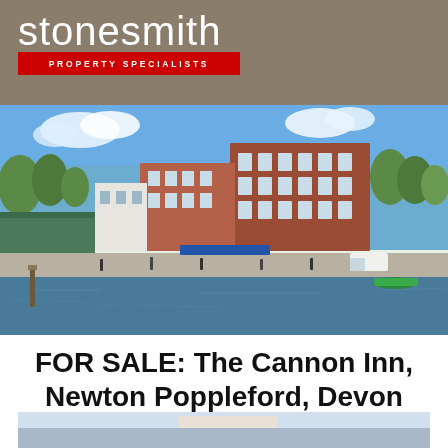[Figure (logo): Stonesmith Property Specialists logo — white text on taupe/brown background with red bar beneath reading PROPERTY SPECIALISTS]
[Figure (photo): Waterfront scene showing a row of brick buildings including a multi-storey warehouse conversion beside a harbour with boats and pedestrians on the quayside, blue sky with clouds]
FOR SALE: The Cannon Inn, Newton Poppleford, Devon
[Figure (photo): Partial view of a second property photo at the bottom of the page, cropped]